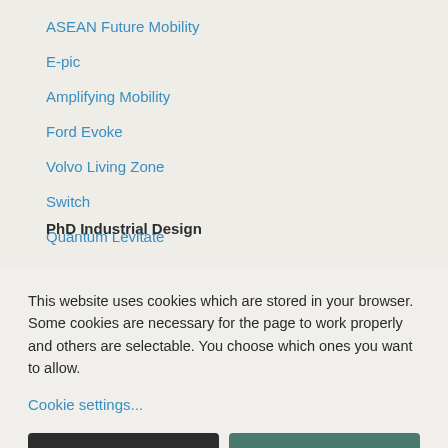ASEAN Future Mobility
E-pic
Amplifying Mobility
Ford Evoke
Volvo Living Zone
Switch
Quantum Levitate
PhD Industrial Design
This website uses cookies which are stored in your browser. Some cookies are necessary for the page to work properly and others are selectable. You choose which ones you want to allow.
Cookie settings...
Allow only necessary cookies
Allow all cookies